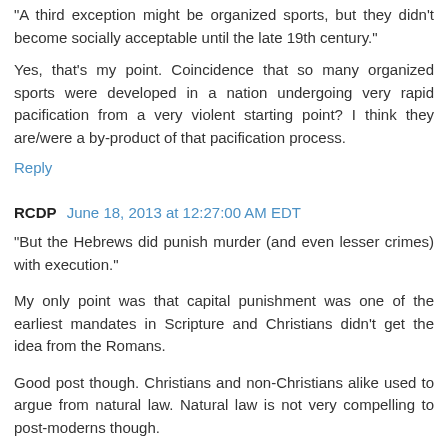"A third exception might be organized sports, but they didn't become socially acceptable until the late 19th century."
Yes, that's my point. Coincidence that so many organized sports were developed in a nation undergoing very rapid pacification from a very violent starting point? I think they are/were a by-product of that pacification process.
Reply
RCDP  June 18, 2013 at 12:27:00 AM EDT
"But the Hebrews did punish murder (and even lesser crimes) with execution."
My only point was that capital punishment was one of the earliest mandates in Scripture and Christians didn't get the idea from the Romans.
Good post though. Christians and non-Christians alike used to argue from natural law. Natural law is not very compelling to post-moderns though.